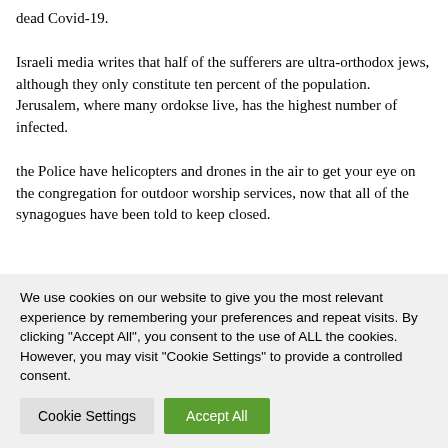dead Covid-19.
Israeli media writes that half of the sufferers are ultra-orthodox jews, although they only constitute ten percent of the population. Jerusalem, where many ordokse live, has the highest number of infected.
the Police have helicopters and drones in the air to get your eye on the congregation for outdoor worship services, now that all of the synagogues have been told to keep closed.
We use cookies on our website to give you the most relevant experience by remembering your preferences and repeat visits. By clicking "Accept All", you consent to the use of ALL the cookies. However, you may visit "Cookie Settings" to provide a controlled consent.